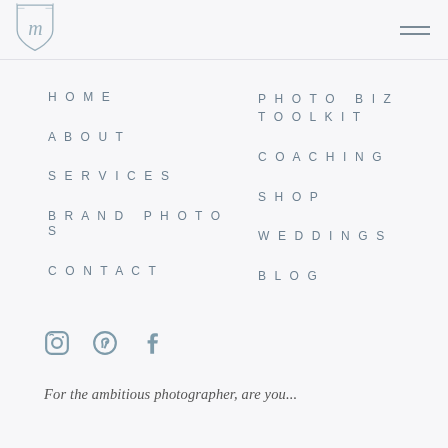[Figure (logo): Shield-shaped monogram logo with stylized M in center, outlined in light grey]
HOME
ABOUT
SERVICES
BRAND PHOTOS
CONTACT
PHOTO BIZ TOOLKIT
COACHING
SHOP
WEDDINGS
BLOG
[Figure (illustration): Instagram, Pinterest, and Facebook social media icons in muted blue-grey color]
For the ambitious photographer, are you...